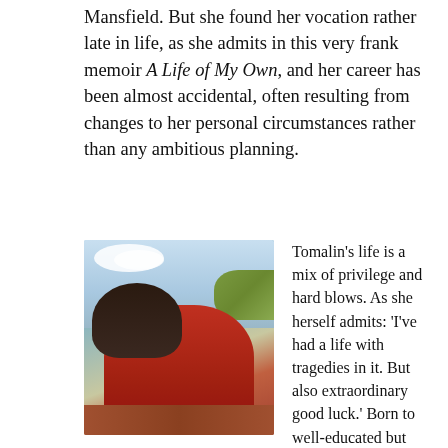Mansfield. But she found her vocation rather late in life, as she admits in this very frank memoir A Life of My Own, and her career has been almost accidental, often resulting from changes to her personal circumstances rather than any ambitious planning.
[Figure (photo): Portrait photograph of a middle-aged woman with dark shoulder-length hair, wearing a red top/scarf, smiling, photographed outdoors against a sky with clouds and some green foliage visible.]
Tomalin's life is a mix of privilege and hard blows. As she herself admits: 'I've had a life with tragedies in it. But also extraordinary good luck.' Born to well-educated but unhappily married parents, brought up bilingual and evacuated from home during the